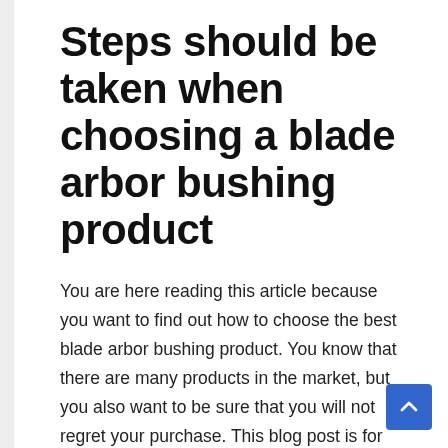Steps should be taken when choosing a blade arbor bushing product
You are here reading this article because you want to find out how to choose the best blade arbor bushing product. You know that there are many products in the market, but you also want to be sure that you will not regret your purchase. This blog post is for you!
In the world of blade arbor bushing product